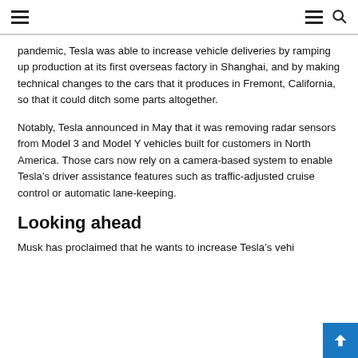pandemic, Tesla was able to increase vehicle deliveries by ramping up production at its first overseas factory in Shanghai, and by making technical changes to the cars that it produces in Fremont, California, so that it could ditch some parts altogether.
Notably, Tesla announced in May that it was removing radar sensors from Model 3 and Model Y vehicles built for customers in North America. Those cars now rely on a camera-based system to enable Tesla’s driver assistance features such as traffic-adjusted cruise control or automatic lane-keeping.
Looking ahead
Musk has proclaimed that he wants to increase Tesla’s vehi…